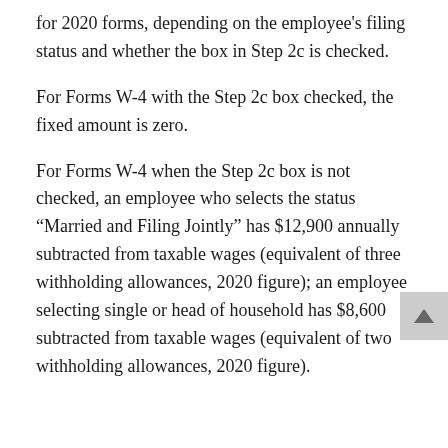for 2020 forms, depending on the employee's filing status and whether the box in Step 2c is checked.
For Forms W-4 with the Step 2c box checked, the fixed amount is zero.
For Forms W-4 when the Step 2c box is not checked, an employee who selects the status "Married and Filing Jointly" has $12,900 annually subtracted from taxable wages (equivalent of three withholding allowances, 2020 figure); an employee selecting single or head of household has $8,600 subtracted from taxable wages (equivalent of two withholding allowances, 2020 figure).